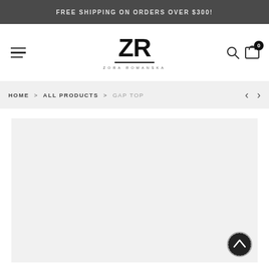FREE SHIPPING ON ORDERS OVER $300!
[Figure (logo): ZR Zora Romanska brand logo with hamburger menu icon on left and search/cart icons on right]
HOME > ALL PRODUCTS > GAP TOP
[Figure (photo): Product image area showing GAP TOP on light grey background with scroll-to-top button]